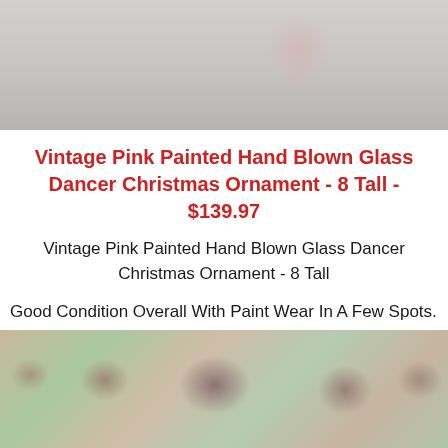[Figure (photo): Top portion of a vintage pink painted hand blown glass dancer Christmas ornament against a light gray background]
Vintage Pink Painted Hand Blown Glass Dancer Christmas Ornament - 8 Tall - $139.97
Vintage Pink Painted Hand Blown Glass Dancer Christmas Ornament - 8 Tall
Good Condition Overall With Paint Wear In A Few Spots. See Photos.
[Figure (photo): Bottom portion showing the surface detail of the ornament with pink and green floral painted patterns]